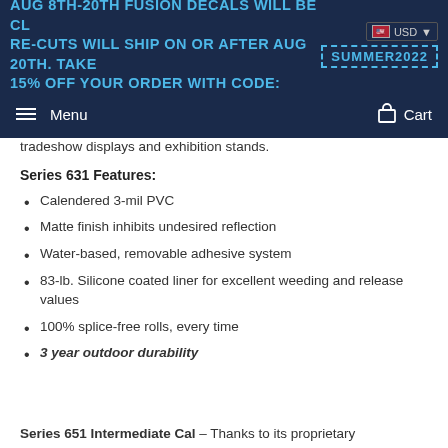AUG 8TH-20TH FUSION DECALS WILL BE CL... RE-CUTS WILL SHIP ON OR AFTER AUG 20TH. TAKE 15% OFF YOUR ORDER WITH CODE: SUMMER2022 | USD
Menu | Cart
tradeshow displays and exhibition stands.
Series 631 Features:
Calendered 3-mil PVC
Matte finish inhibits undesired reflection
Water-based, removable adhesive system
83-lb. Silicone coated liner for excellent weeding and release values
100% splice-free rolls, every time
3 year outdoor durability
Series 651 Intermediate Cal – Thanks to its proprietary